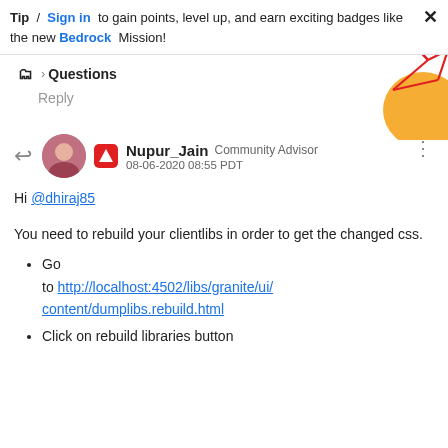Tip / Sign in to gain points, level up, and earn exciting badges like the new Bedrock Mission!
Questions
Reply
Nupur_Jain Community Advisor 08-06-2020 08:55 PDT
Hi @dhiraj85
You need to rebuild your clientlibs in order to get the changed css.
Go to http://localhost:4502/libs/granite/ui/content/dumplibs.rebuild.html
Click on rebuild libraries button